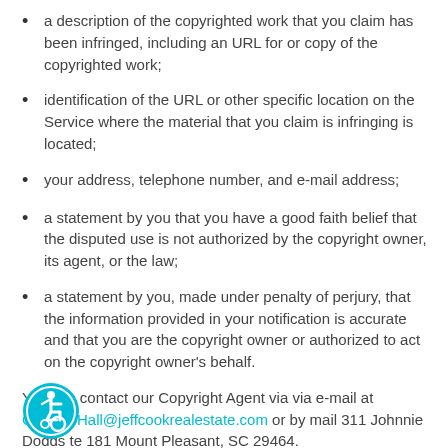a description of the copyrighted work that you claim has been infringed, including an URL for or copy of the copyrighted work;
identification of the URL or other specific location on the Service where the material that you claim is infringing is located;
your address, telephone number, and e-mail address;
a statement by you that you have a good faith belief that the disputed use is not authorized by the copyright owner, its agent, or the law;
a statement by you, made under penalty of perjury, that the information provided in your notification is accurate and that you are the copyright owner or authorized to act on the copyright owner's behalf.
You can contact our Copyright Agent via via e-mail at Clayton.Hall@jeffcookrealestate.com or by mail 311 Johnnie Dodds te 181 Mount Pleasant, SC 29464.
[Figure (illustration): Accessibility icon: circular teal/cyan badge with a white wheelchair user symbol]